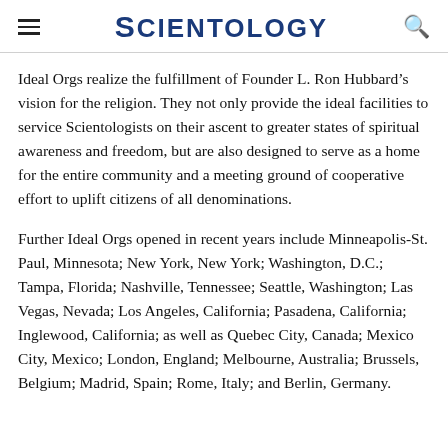SCIENTOLOGY
Ideal Orgs realize the fulfillment of Founder L. Ron Hubbard’s vision for the religion. They not only provide the ideal facilities to service Scientologists on their ascent to greater states of spiritual awareness and freedom, but are also designed to serve as a home for the entire community and a meeting ground of cooperative effort to uplift citizens of all denominations.
Further Ideal Orgs opened in recent years include Minneapolis-St. Paul, Minnesota; New York, New York; Washington, D.C.; Tampa, Florida; Nashville, Tennessee; Seattle, Washington; Las Vegas, Nevada; Los Angeles, California; Pasadena, California; Inglewood, California; as well as Quebec City, Canada; Mexico City, Mexico; London, England; Melbourne, Australia; Brussels, Belgium; Madrid, Spain; Rome, Italy; and Berlin, Germany.